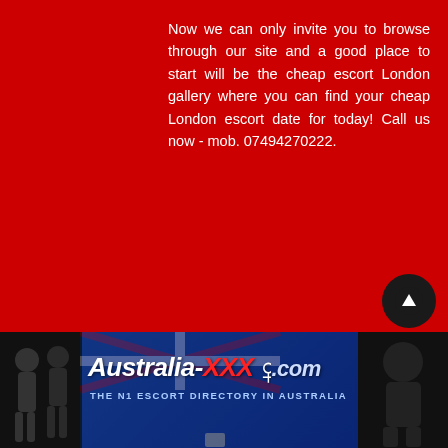Now we can only invite you to browse through our site and a good place to start will be the cheap escort London gallery where you can find your cheap London escort date for today! Call us now - mob. 07494270222.
Copyright © 2012 Cheapescortlondon.co.uk. All rights reserved.
[Figure (photo): Banner advertisement for Australia-XXX.com showing 'THE N1 ESCORT DIRECTORY IN AUSTRALIA' with photos of women on left and right sides, Australian flag background, and a circular up-arrow button]